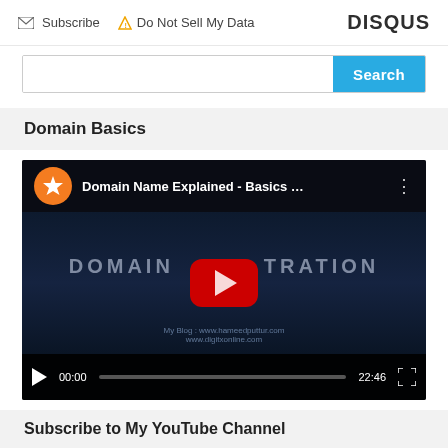Subscribe  Do Not Sell My Data   DISQUS
[Figure (screenshot): Search bar with blue Search button]
Domain Basics
[Figure (screenshot): YouTube video embed: Domain Name Explained - Basics ... with play button overlay showing DOMAIN TRATION text, timestamp 00:00 / 22:46]
Subscribe to My YouTube Channel